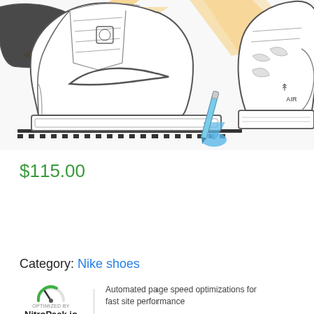[Figure (illustration): Illustration of multiple Nike sneakers (Air Jordan 1, Air Jordan 3, Air Force) drawn in a sketch/coloring-book style with black outlines on white, featuring gold/orange diagonal streaks and a blue marker/paint figure at the bottom center.]
$115.00
Buy product
Category: Nike shoes
OPTIMIZED BY NitroPack.io  |  Automated page speed optimizations for fast site performance